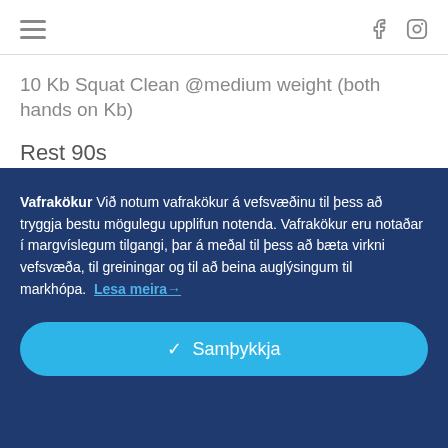≡   f  (instagram icon)
10 Kb Squat Clean @medium weight (both hands on Kb)
Rest 90s
Vafrakökur Við notum vafrakökur á vefsvæðinu til þess að tryggja bestu mögulegu upplifun notenda. Vafrakökur eru notaðar í margvíslegum tilgangi, þar á meðal til þess að bæta virkni vefsvæða, til greiningar og til að beina auglýsingum til markhópa. Lesa meira→
✓ Samþykkja